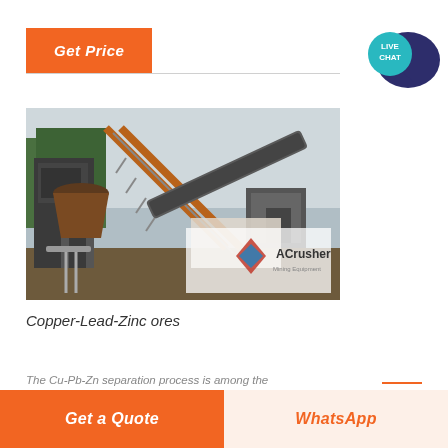Get Price
[Figure (photo): Industrial mining equipment with conveyor belt and crushers at an outdoor mining site, branded with ACrusher Mining Equipment logo]
Copper-Lead-Zinc ores
The Cu-Pb-Zn separation process is among the
Get a Quote
WhatsApp